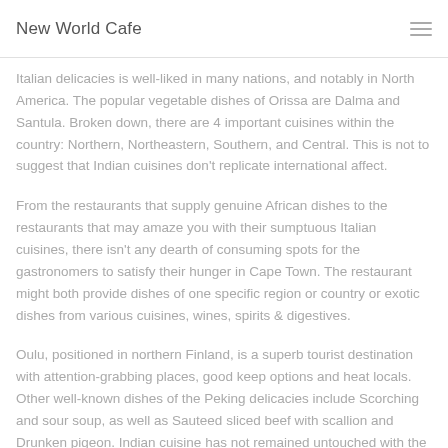New World Cafe
Italian delicacies is well-liked in many nations, and notably in North America. The popular vegetable dishes of Orissa are Dalma and Santula. Broken down, there are 4 important cuisines within the country: Northern, Northeastern, Southern, and Central. This is not to suggest that Indian cuisines don't replicate international affect.
From the restaurants that supply genuine African dishes to the restaurants that may amaze you with their sumptuous Italian cuisines, there isn't any dearth of consuming spots for the gastronomers to satisfy their hunger in Cape Town. The restaurant might both provide dishes of one specific region or country or exotic dishes from various cuisines, wines, spirits & digestives.
Oulu, positioned in northern Finland, is a superb tourist destination with attention-grabbing places, good keep options and heat locals. Other well-known dishes of the Peking delicacies include Scorching and sour soup, as well as Sauteed sliced beef with scallion and Drunken pigeon. Indian cuisine has not remained untouched with the same and it exhibits an important diversity in Indian delicacies